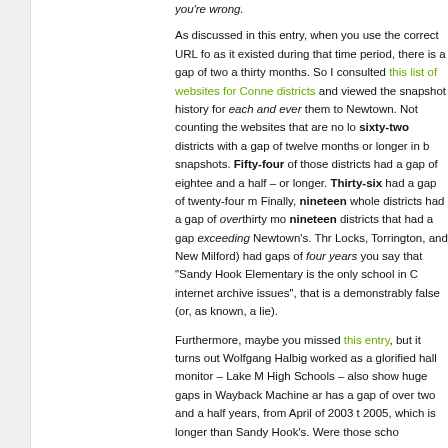you're wrong.
As discussed in this entry, when you use the correct URL for as it existed during that time period, there is a gap of two a thirty months. So I consulted this list of websites for Conne districts and viewed the snapshot history for each and ever them to Newtown. Not counting the websites that are no lo sixty-two districts with a gap of twelve months or longer in snapshots. Fifty-four of those districts had a gap of eighte and a half – or longer. Thirty-six had a gap of twenty-four Finally, nineteen whole districts had a gap of over thirty m nineteen districts that had a gap exceeding Newtown's. Th Locks, Torrington, and New Milford) had gaps of four years you say that "Sandy Hook Elementary is the only school in internet archive issues", that is a demonstrably false (or, a known, a lie).
Furthermore, maybe you missed this entry, but it turns out Wolfgang Halbig worked as a glorified hall monitor – Lake High Schools – also show huge gaps in Wayback Machine a has a gap of over two and a half years, from April of 2003 2005, which is longer than Sandy Hook's. Were those scho